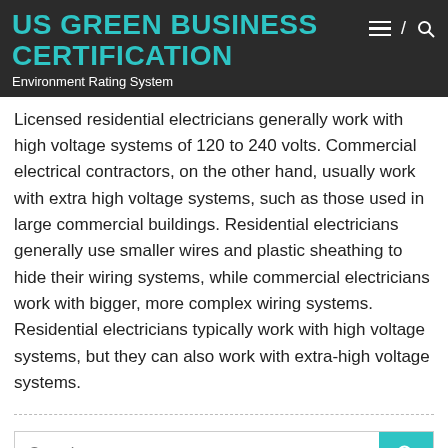US GREEN BUSINESS CERTIFICATION
Environment Rating System
Licensed residential electricians generally work with high voltage systems of 120 to 240 volts. Commercial electrical contractors, on the other hand, usually work with extra high voltage systems, such as those used in large commercial buildings. Residential electricians generally use smaller wires and plastic sheathing to hide their wiring systems, while commercial electricians work with bigger, more complex wiring systems. Residential electricians typically work with high voltage systems, but they can also work with extra-high voltage systems.
August 2022